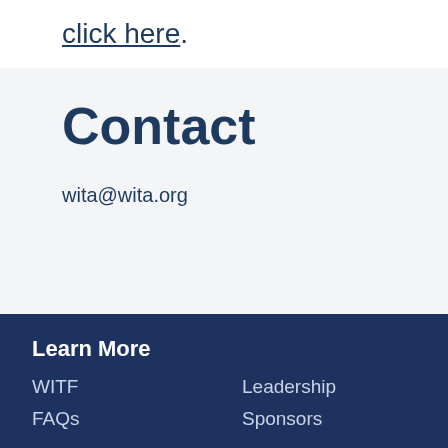click here.
Contact
wita@wita.org
Learn More
WITF
FAQs
Leadership
Sponsors